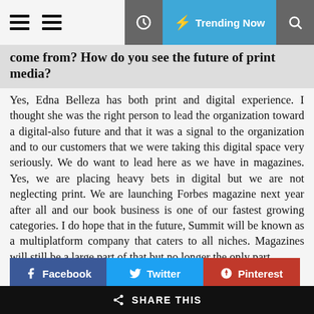Trending Now
come from?  How do you see the future of print media?
Yes, Edna Belleza has both print and digital experience.  I thought she was the right person to lead the organization toward a digital-also future and that it was a signal to the organization and to our customers that we were taking this digital space very seriously. We do want to lead here as we have in magazines.  Yes, we are placing heavy bets in digital but we are not neglecting print. We are launching Forbes magazine next year after all and our book business is one of our fastest growing categories. I do hope that in the future, Summit will be known as a multiplatform company that caters to all niches. Magazines will still be a large part of that but no longer the only part.
SHARE THIS